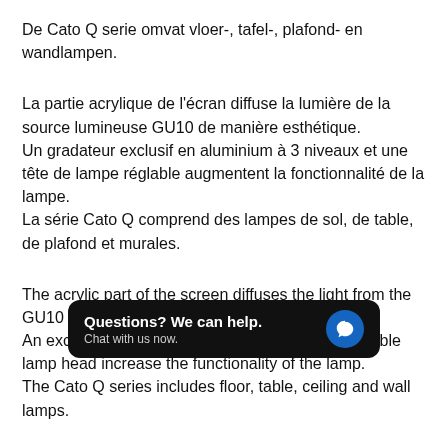De Cato Q serie omvat vloer-, tafel-, plafond- en wandlampen.
La partie acrylique de l'écran diffuse la lumière de la source lumineuse GU10 de manière esthétique.
Un gradateur exclusif en aluminium à 3 niveaux et une tête de lampe réglable augmentent la fonctionnalité de la lampe.
La série Cato Q comprend des lampes de sol, de table, de plafond et murales.
The acrylic part of the screen diffuses the light from the GU10 light source in an aesthetic way.
An exclusive aluminum 3-step dimmer and adjustable lamp head increase the functionality of the lamp.
The Cato Q series includes floor, table, ceiling and wall lamps.
Der Acrylteil des Schirms streut das Licht der GU10-Lichtquelle auf ästhetische Ar...
Ein exklusiver 3-S... und ein verstellbarer Lampenkopf erhöhen die Funktionalität der Lampe.
[Figure (screenshot): Chat support overlay widget with text 'Questions? We can help. Chat with us now.' and a blue speech bubble icon on dark background.]